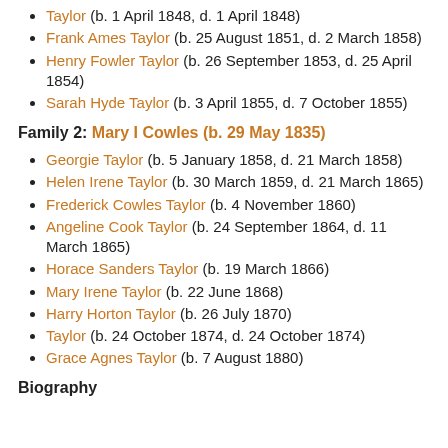Taylor (b. 1 April 1848, d. 1 April 1848)
Frank Ames Taylor (b. 25 August 1851, d. 2 March 1858)
Henry Fowler Taylor (b. 26 September 1853, d. 25 April 1854)
Sarah Hyde Taylor (b. 3 April 1855, d. 7 October 1855)
Family 2: Mary I Cowles (b. 29 May 1835)
Georgie Taylor (b. 5 January 1858, d. 21 March 1858)
Helen Irene Taylor (b. 30 March 1859, d. 21 March 1865)
Frederick Cowles Taylor (b. 4 November 1860)
Angeline Cook Taylor (b. 24 September 1864, d. 11 March 1865)
Horace Sanders Taylor (b. 19 March 1866)
Mary Irene Taylor (b. 22 June 1868)
Harry Horton Taylor (b. 26 July 1870)
Taylor (b. 24 October 1874, d. 24 October 1874)
Grace Agnes Taylor (b. 7 August 1880)
Biography